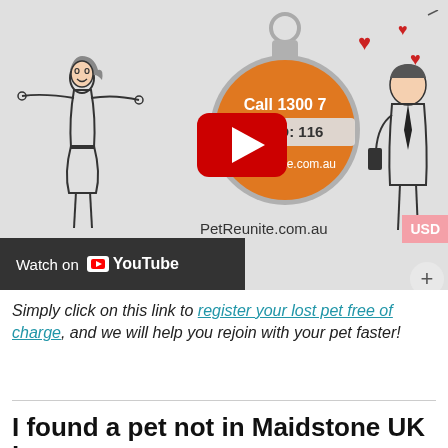[Figure (screenshot): A YouTube video thumbnail showing a PetReunite.com.au advertisement. On the left is a cartoon woman with arms outstretched. In the center is an orange pet ID tag reading 'Call 1300 7', 'Pet ID: 116', 'PetReunite.com.au' with a YouTube play button overlay. On the right are cartoon hearts and a man. Below the tag is text 'PetReunite.com.au'. At the bottom left is a dark bar saying 'Watch on YouTube'. Top right has a pink 'USD' button and a plus (+) circle button.]
Simply click on this link to register your lost pet free of charge, and we will help you rejoin with your pet faster!
I found a pet not in Maidstone UK how